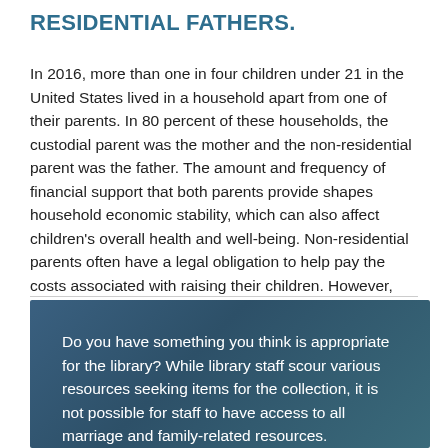RESIDENTIAL FATHERS.
In 2016, more than one in four children under 21 in the United States lived in a household apart from one of their parents. In 80 percent of these households, the custodial parent was the mother and the non-residential parent was the father. The amount and frequency of financial support that both parents provide shapes household economic stability, which can also affect children's overall health and well-being. Non-residential parents often have a legal obligation to help pay the costs associated with raising their children. However, some non-residential parents pay these costs…
Do you have something you think is appropriate for the library? While library staff scour various resources seeking items for the collection, it is not possible for staff to have access to all marriage and family-related resources.